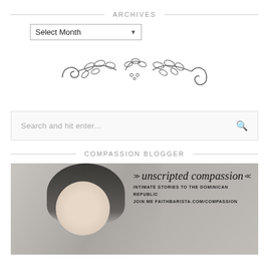ARCHIVES
Select Month
[Figure (illustration): Decorative botanical ornament divider with scrolling leaves and dots]
Search and hit enter...
COMPASSION BLOGGER
[Figure (photo): Photo of an Asian woman smiling and gesturing, with overlay text reading 'unscripted compassion - Intimate stories to the Dominican Republic - Join me faithbarista.com/compassion']